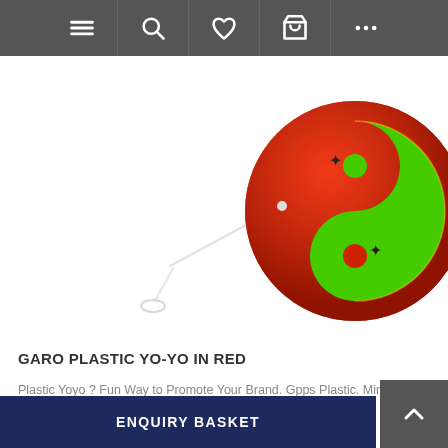[Figure (screenshot): Mobile e-commerce navigation bar with hamburger menu, search, heart/wishlist, shopping bag, and three-dots icons on dark grey background]
[Figure (photo): Red plastic yo-yo with green yin-yang symbol design and white string, photographed on white background]
GARO PLASTIC YO-YO IN RED
Plastic Yoyo ? Fun Way to Promote Your Brand. Gpps Plastic. Minimum Quantities Apply.
£0.40 to £0.74
ENQUIRY BASKET